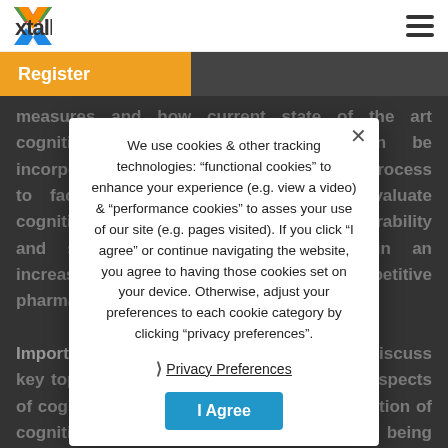[Figure (logo): Xtalks logo with colorful X icon and 'xtalks' text]
Register
measures and how current state of the art cognitive assessment technology can be incorporated into the clinical development process to facilitate early decision making, evaluate cognitive efficacy, profile safety and tolerability and satisfy regulatory requirements in an increasingly challenging and competitive pharmaceutical landscape.
Important: The following presenters will discuss key topics and address condition-specific aspects of cognition that are essential for the evaluation of cognitive safety of new medications being developed for various CNS and non-CNS indications. Recognizing that the ability to test, measure and monitor cognitive performance and potential
We use cookies & other tracking technologies: "functional cookies" to enhance your experience (e.g. view a video) & "performance cookies" to asses your use of our site (e.g. pages visited). If you click "I agree" or continue navigating the website, you agree to having those cookies set on your device. Otherwise, adjust your preferences to each cookie category by clicking "privacy preferences".
Privacy Preferences
I Agree